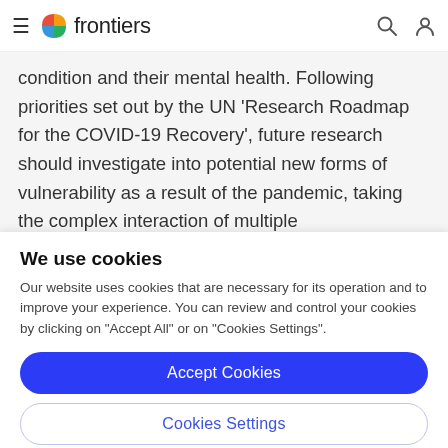frontiers
condition and their mental health. Following priorities set out by the UN 'Research Roadmap for the COVID-19 Recovery', future research should investigate into potential new forms of vulnerability as a result of the pandemic, taking the complex interaction of multiple
We use cookies
Our website uses cookies that are necessary for its operation and to improve your experience. You can review and control your cookies by clicking on "Accept All" or on "Cookies Settings".
Accept Cookies
Cookies Settings